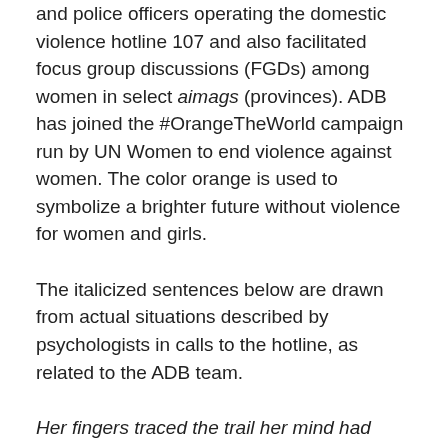and police officers operating the domestic violence hotline 107 and also facilitated focus group discussions (FGDs) among women in select aimags (provinces). ADB has joined the #OrangeTheWorld campaign run by UN Women to end violence against women. The color orange is used to symbolize a brighter future without violence for women and girls.
The italicized sentences below are drawn from actual situations described by psychologists in calls to the hotline, as related to the ADB team.
Her fingers traced the trail her mind had mapped for days now. 1-0-7. Hung up. 1-0-7. Stay on the line.
Calling 107 is the first step toward healing, but it can be a difficult step to take. Callers breaking the silence about gender-based violence in Mongolia have